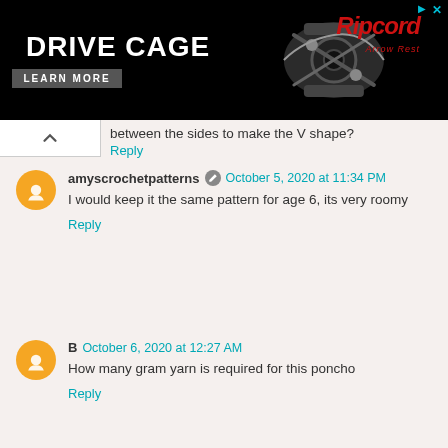[Figure (illustration): Advertisement banner for 'Drive Cage' by Ripcord Arrow Rest. Black background with white bold text 'DRIVE CAGE', a 'LEARN MORE' button, product image of a mechanical device, and the Ripcord red logo.]
between the sides to make the V shape?
Reply
amyscrochetpatterns  October 5, 2020 at 11:34 PM
I would keep it the same pattern for age 6, its very roomy
Reply
B  October 6, 2020 at 12:27 AM
How many gram yarn is required for this poncho
Reply
amyscrochetpatterns  October 6, 2020 at 4:41 PM
I dont go by grams, one skien or less for each color